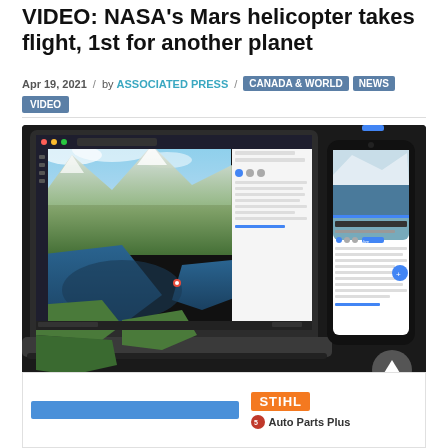VIDEO: NASA's Mars helicopter takes flight, 1st for another planet
Apr 19, 2021 / by ASSOCIATED PRESS / CANADA & WORLD NEWS VIDEO
[Figure (screenshot): Screenshot showing a laptop and phone displaying a mapping/satellite application with an aerial view of coastline and mountains, with text panels about Columbia Glacier]
[Figure (other): Advertisement banner for STIHL Auto Parts Plus with blue bar and orange STIHL logo]